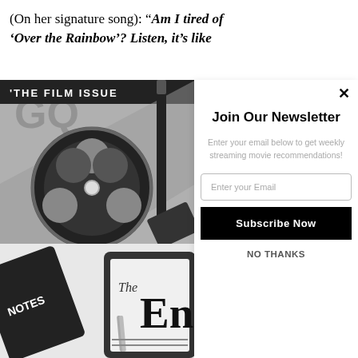(On her signature song): “Am I tired of ‘Over the Rainbow’? Listen, it’s like
[Figure (photo): Left collage panel with magazine cover showing THE FILM ISSUE with GQ logo and film reel graphic, pencil, notebook labeled NOTES, and tablet showing handwritten letters The En...]
Join Our Newsletter
Enter your email below to get weekly streaming movie recommendations!
Enter your Email
Subscribe Now
NO THANKS